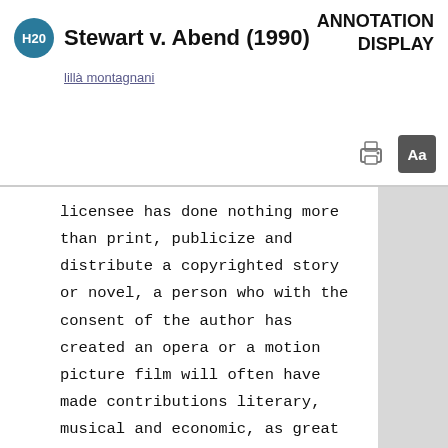Stewart v. Abend (1990)
ANNOTATION DISPLAY
lillà montagnani
licensee has done nothing more than print, publicize and distribute a copyrighted story or novel, a person who with the consent of the author has created an opera or a motion picture film will often have made contributions literary, musical and economic, as great as or greater than the original author. . . . [T]he purchaser of derivative rights has no